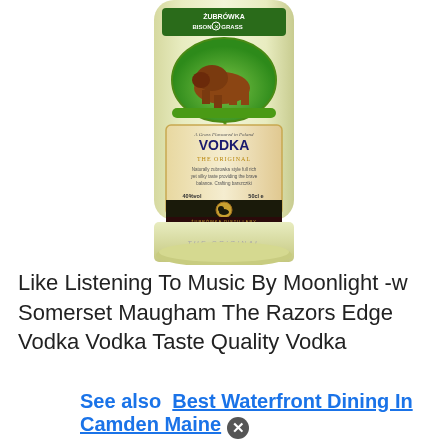[Figure (photo): A bottle of Zubrowka Bison Grass Vodka, showing the label with a bison illustration, 'VODKA THE ORIGINAL' text, and a blade of grass inside the bottle. The bottle is shown from the top half downward.]
Like Listening To Music By Moonlight -w Somerset Maugham The Razors Edge Vodka Vodka Taste Quality Vodka
See also  Best Waterfront Dining In Camden Maine